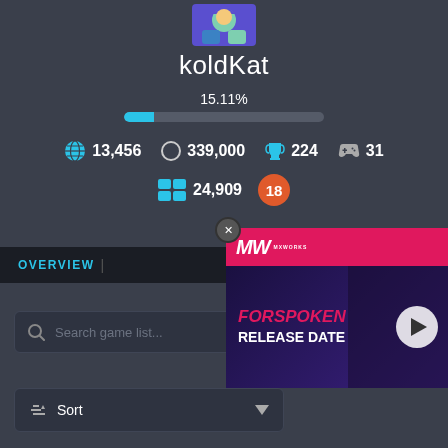[Figure (illustration): Game profile avatar with colorful character illustration at top]
koldKat
15.11%
[Figure (infographic): Progress bar showing 15.11% completion, with cyan fill on dark background]
13,456  339,000  224  31
24,909  18
OVERVIEW |
[Figure (screenshot): Search game list input field with magnifying glass icon]
[Figure (screenshot): Sort dropdown button]
[Figure (advertisement): MXWORKS ad for FORSPOKEN RELEASE DATE with play button overlay]